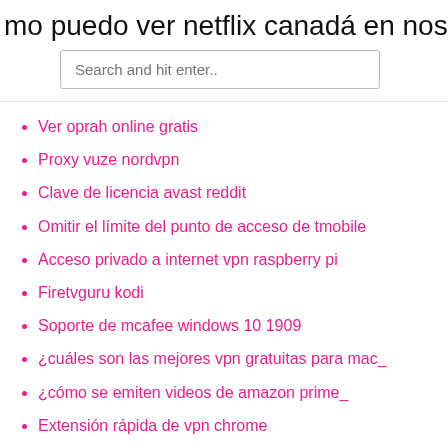mo puedo ver netflix canadá en noso
Search and hit enter..
Ver oprah online gratis
Proxy vuze nordvpn
Clave de licencia avast reddit
Omitir el límite del punto de acceso de tmobile
Acceso privado a internet vpn raspberry pi
Firetvguru kodi
Soporte de mcafee windows 10 1909
¿cuáles son las mejores vpn gratuitas para mac_
¿cómo se emiten videos de amazon prime_
Extensión rápida de vpn chrome